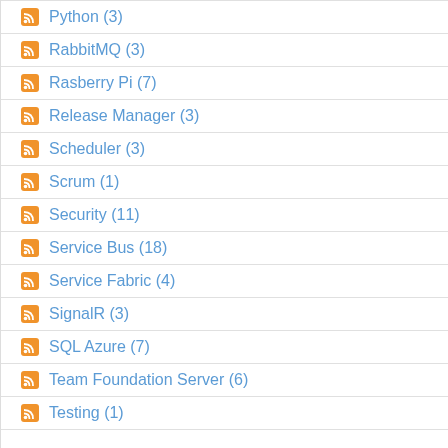Python (3)
RabbitMQ (3)
Rasberry Pi (7)
Release Manager (3)
Scheduler (3)
Scrum (1)
Security (11)
Service Bus (18)
Service Fabric (4)
SignalR (3)
SQL Azure (7)
Team Foundation Server (6)
Testing (1)